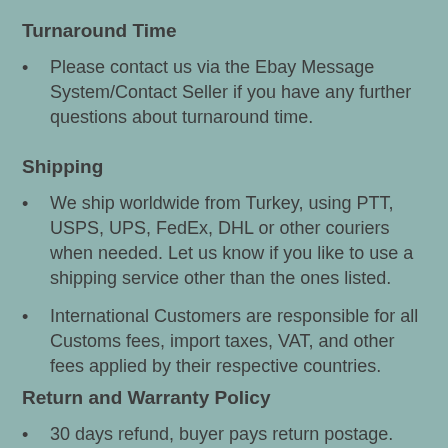Turnaround Time
Please contact us via the Ebay Message System/Contact Seller if you have any further questions about turnaround time.
Shipping
We ship worldwide from Turkey, using PTT, USPS, UPS, FedEx, DHL or other couriers when needed. Let us know if you like to use a shipping service other than the ones listed.
International Customers are responsible for all Customs fees, import taxes, VAT, and other fees applied by their respective countries.
Return and Warranty Policy
30 days refund, buyer pays return postage.
Product must be returned in purchased condition.